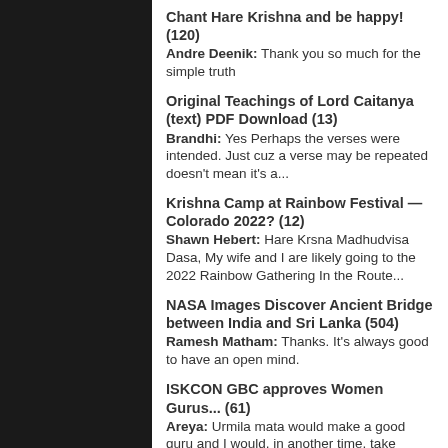Chant Hare Krishna and be happy! (120)
Andre Deenik: Thank you so much for the simple truth
Original Teachings of Lord Caitanya (text) PDF Download (13)
Brandhi: Yes Perhaps the verses were intended. Just cuz a verse may be repeated doesn't mean it's a...
Krishna Camp at Rainbow Festival — Colorado 2022? (12)
Shawn Hebert: Hare Krsna Madhudvisa Dasa, My wife and I are likely going to the 2022 Rainbow Gathering In the Route...
NASA Images Discover Ancient Bridge between India and Sri Lanka (504)
Ramesh Matham: Thanks. It's always good to have an open mind.
ISKCON GBC approves Women Gurus... (61)
Areya: Urmila mata would make a good guru and I would, in another time, take instruction from her. Male gurus should...
The Roads of the Foolish and the Wise (3)
nick: Just a thought.... It is interesting to note that as a child grows he becomes less reliant on